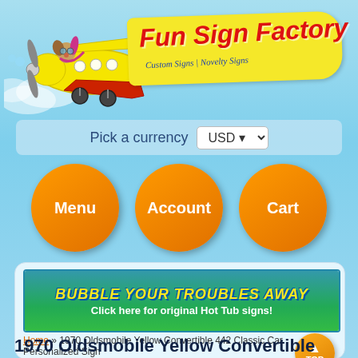[Figure (illustration): Fun Sign Factory website header with cartoon dog flying a yellow biplane and yellow banner logo reading 'Fun Sign Factory - Custom Signs | Novelty Signs']
Pick a currency  USD
Menu
Account
Cart
[Figure (illustration): Hot tub promotional banner reading 'BUBBLE YOUR TROUBLES AWAY - Click here for original Hot Tub signs!']
Home » 1970 Oldsmobile Yellow Convertible 442 Classic Car Personalized Sign
1970 Oldsmobile Yello- Convertible 442 C...